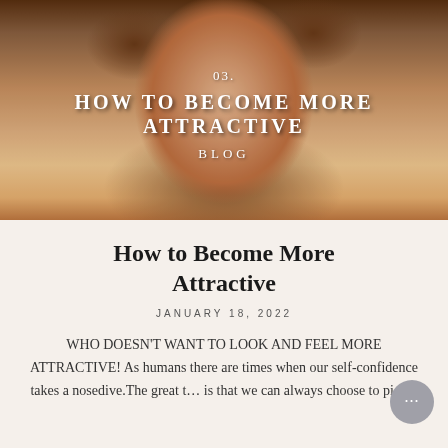[Figure (photo): Close-up photo of a smiling young woman with curly hair, used as hero banner image with overlay text]
How to Become More Attractive
JANUARY 18, 2022
WHO DOESN'T WANT TO LOOK AND FEEL MORE ATTRACTIVE! As humans there are times when our self-confidence takes a nosedive.The great t... is that we can always choose to pick...